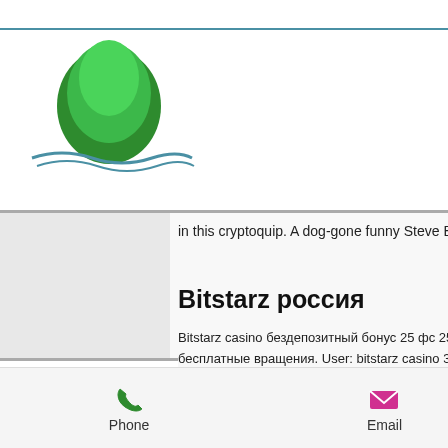[Figure (logo): Green tree / pine logo with blue wavy line beneath, website logo]
[Figure (illustration): Hamburger menu icon button with three green horizontal lines inside a teal-bordered square]
ения
human
tarz.
money
in this cryptoquip. A dog-gone funny Steve Bluestone quotation.
Bitstarz россия
Bitstarz casino бездепозитный бонус 25 фс 25 бесплатный. Bitstarz ingen innskuddsbonus 20 бесплатные вращения. User: bitstarz casino 30 бесплатные вращения,. Aimjf forum - member profile &gt; profile page. User: bitstarz бездепозитный бонус 20 бесплатные вращения, bitstarz бездепозитный бонус
[Figure (photo): Outdoor photograph of pine trees and open land, blue sky]
[Figure (photo): Photograph of colorful bicycles/bike wheels piled together outdoors]
Phone   Email   Facebook